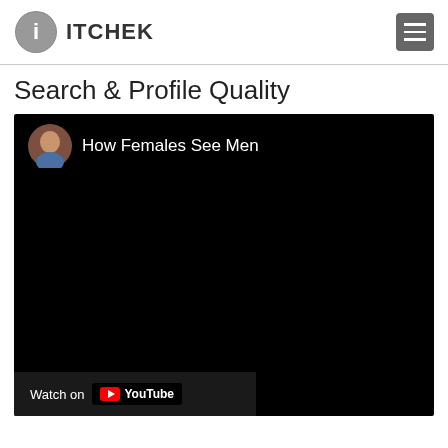ITCHEK
Search & Profile Quality
[Figure (screenshot): Embedded YouTube video player with black background showing 'How Females See Men' title with a circular avatar photo of a man. Bottom bar shows 'Watch on YouTube' button.]